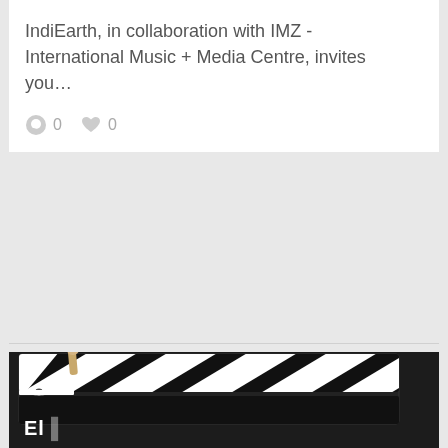IndiEarth, in collaboration with IMZ - International Music + Media Centre, invites you…
0  0
[Figure (photo): Close-up photo of a film clapperboard (slate) in black and white, with diagonal stripe pattern and a drumstick resting on top. Partial text visible at the bottom.]